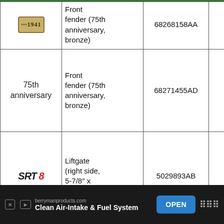| Image | Description | Part Number | Price |
| --- | --- | --- | --- |
| [badge image] | Front fender (75th anniversary, bronze) | 68268158AA | $88.35 |
| 75th anniversary | Front fender (75th anniversary, bronze) | 68271455AD | $41.70 |
| [SRT8 logo] | Liftgate (right side, 5-7/8″ x 9/16″) | 5029893AB | $43.85 |
|  |  |  |  |
[Figure (other): Advertisement banner: berrymanproducts.com – Clean Air-Intake & Fuel System, with OPEN button]